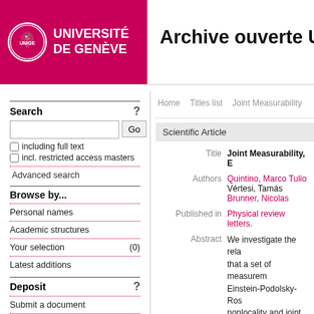[Figure (logo): Université de Genève logo with pink background, circular seal and white bold text]
Archive ouverte UN
Home   Titles list   Joint Measurability
Scientific Article
| Field | Value |
| --- | --- |
| Title | Joint Measurability, E |
| Authors | Quintino, Marco Tulio
Vértesi, Tamás
Brunner, Nicolas |
| Published in | Physical review letters. |
| Abstract | We investigate the rela that a set of measurem Einstein-Podolsky-Ros nonlocality and joint me incompatible quantum the existence of incom admit a local hidden va |
Search
Browse by...
Personal names
Academic structures
Your selection (0)
Latest additions
Deposit
Submit a document
Update a submission